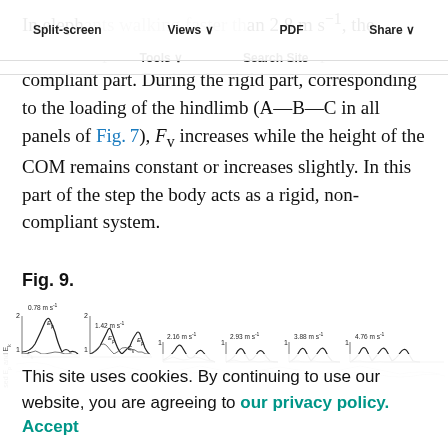Split-screen | Views | PDF | Share | Tools | Search Site
In elephants walking faster than 2.8 m s⁻¹, the relationship can be divided into a rigid part and a compliant part. During the rigid part, corresponding to the loading of the hindlimb (A—B—C in all panels of Fig. 7), F_v increases while the height of the COM remains constant or increases slightly. In this part of the step the body acts as a rigid, non-compliant system.
Fig. 9.
[Figure (continuous-plot): Multi-panel figure showing normalized energy (E_p and E_k) versus time or step cycle for elephant walking at various speeds: 0.78 m s⁻¹, 1.42 m s⁻¹, 2.16 m s⁻¹, 2.93 m s⁻¹, 3.88 m s⁻¹, 4.76 m s⁻¹. Each panel shows waveform curves labeled E_p and E_k with y-axis 1 to 2.]
This site uses cookies. By continuing to use our website, you are agreeing to our privacy policy. Accept